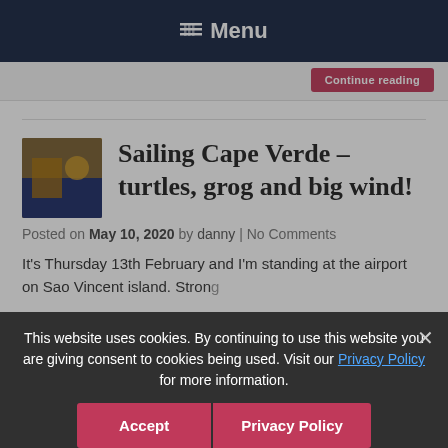Menu
Continue reading
Sailing Cape Verde – turtles, grog and big wind!
Posted on May 10, 2020 by danny | No Comments
It's Thursday 13th February and I'm standing at the airport on Sao Vincent island. Strong and sweat pants fly immediately into the suitcase and I'm sitting in a half broken yet restored Mercedes. The accommodation is
This website uses cookies. By continuing to use this website you are giving consent to cookies being used. Visit our Privacy Policy for more information.